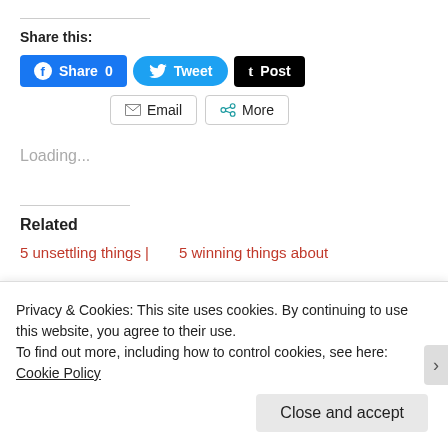Share this:
[Figure (screenshot): Social share buttons: Facebook Share 0, Twitter Tweet, Tumblr Post, Email, More]
Loading...
Related
5 unsettling things |
5 winning things about
Privacy & Cookies: This site uses cookies. By continuing to use this website, you agree to their use.
To find out more, including how to control cookies, see here: Cookie Policy
Close and accept